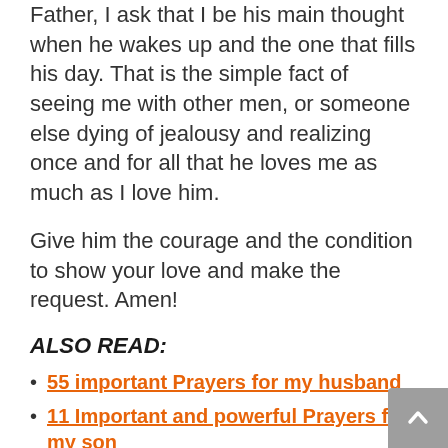Father, I ask that I be his main thought when he wakes up and the one that fills his day. That is the simple fact of seeing me with other men, or someone else dying of jealousy and realizing once and for all that he loves me as much as I love him.

Give him the courage and the condition to show your love and make the request. Amen!
ALSO READ:
55 important Prayers for my husband
11 Important and powerful Prayers for my son
How to Receive Answers to Your Prayers